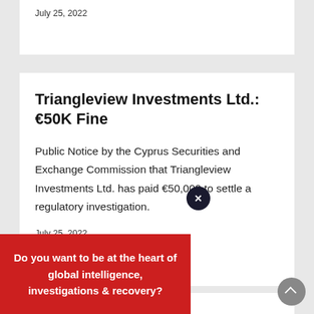July 25, 2022
Triangleview Investments Ltd.: €50K Fine
Public Notice by the Cyprus Securities and Exchange Commission that Triangleview Investments Ltd. has paid €50,000 to settle a regulatory investigation.
July 25, 2022
nts Luxembourg SA: £42.4K Fine
Do you want to be at the heart of global intelligence, investigations & recovery?